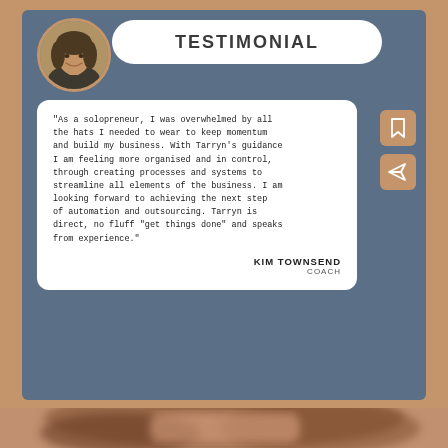TESTIMONIAL
"As a solopreneur, I was overwhelmed by all the hats I needed to wear to keep momentum and build my business. With Tarryn's guidance I am feeling more organised and in control, through creating processes and systems to streamline all elements of the business. I am looking forward to achieving the next step of automation and outsourcing. Tarryn is direct, no fluff "get things done" and speaks from experience."
KIM TOWNSEND
COACH
[Figure (photo): Circular profile photo of a woman with dark curly hair, smiling, wearing a dark top]
[Figure (photo): Blurred close-up photo of a person's face/head with brown hair, bottom portion of page]